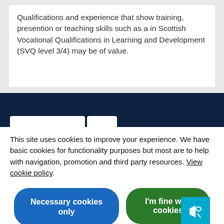Qualifications and experience that show training, presention or teaching skills such as a in Scottish Vocational Qualifications in Learning and Development (SVQ level 3/4) may be of value.
This site uses cookies to improve your experience. We have basic cookies for functionality purposes but most are to help with navigation, promotion and third party resources. View cookie policy.
Necessary cookies only
I'm fine with cookies